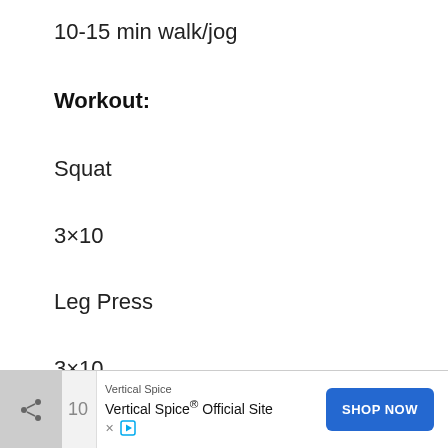10-15 min walk/jog
Workout:
Squat
3×10
Leg Press
3×10
Hamstring Curl
Vertical Spice® Official Site — SHOP NOW (advertisement)